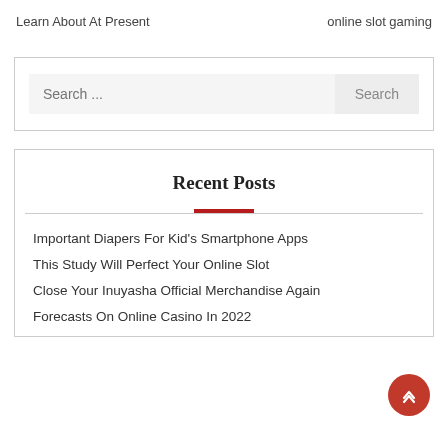Learn About At Present    online slot gaming
Search ...
Recent Posts
Important Diapers For Kid's Smartphone Apps
This Study Will Perfect Your Online Slot
Close Your Inuyasha Official Merchandise Again
Forecasts On Online Casino In 2022